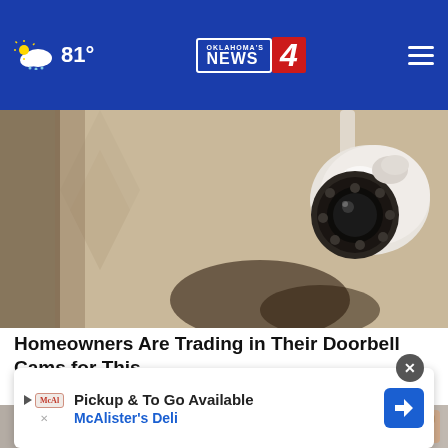Oklahoma's News 4 — 81°
[Figure (photo): Close-up of a white dome security camera mounted on a wall/ceiling, with dark lens and infrared LEDs visible, against a beige/tan background.]
Homeowners Are Trading in Their Doorbell Cams for This.
Keilini.com
[Figure (photo): Partial view of a second article image, partially obscured by an advertisement overlay.]
Pickup & To Go Available McAlister's Deli